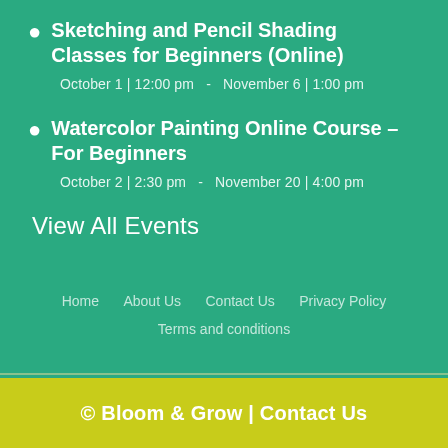Sketching and Pencil Shading Classes for Beginners (Online)
October 1 | 12:00 pm  -  November 6 | 1:00 pm
Watercolor Painting Online Course – For Beginners
October 2 | 2:30 pm  -  November 20 | 4:00 pm
View All Events
Home   About Us   Contact Us   Privacy Policy   Terms and conditions
© Bloom & Grow | Contact Us